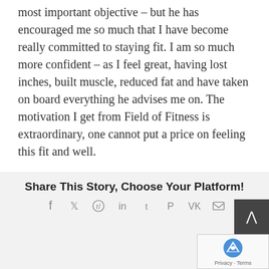most important objective – but he has encouraged me so much that I have become really committed to staying fit. I am so much more confident – as I feel great, having lost inches, built muscle, reduced fat and have taken on board everything he advises me on. The motivation I get from Field of Fitness is extraordinary, one cannot put a price on feeling this fit and well.
Share This Story, Choose Your Platform!
[Figure (infographic): Social media share icons: Facebook, Twitter, Reddit, LinkedIn, Tumblr, Pinterest, VK, Email]